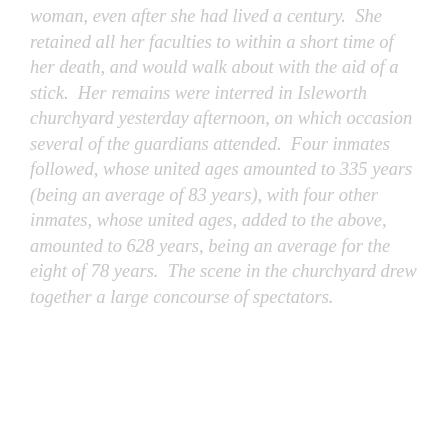woman, even after she had lived a century. She retained all her faculties to within a short time of her death, and would walk about with the aid of a stick. Her remains were interred in Isleworth churchyard yesterday afternoon, on which occasion several of the guardians attended. Four inmates followed, whose united ages amounted to 335 years (being an average of 83 years), with four other inmates, whose united ages, added to the above, amounted to 628 years, being an average for the eight of 78 years. The scene in the churchyard drew together a large concourse of spectators.